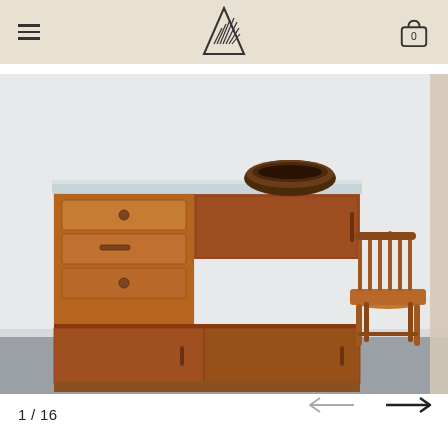Navigation header with hamburger menu, logo, and cart icon
[Figure (photo): Mid-century modern teak sideboard/credenza with sliding doors and three drawers on the left side, a light blue/grey top surface with a dark wooden bowl placed on top. A wooden spindle-back chair is visible to the right. The furniture sits on a grey floor against a white wall.]
1 / 16
[Figure (other): Navigation arrows: left arrow (grey/inactive) and right arrow (black/active) for image gallery navigation]